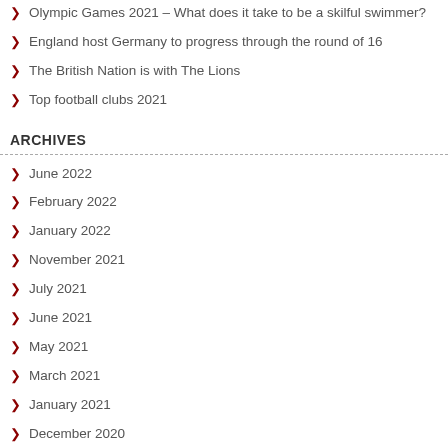Olympic Games 2021 – What does it take to be a skilful swimmer?
England host Germany to progress through the round of 16
The British Nation is with The Lions
Top football clubs 2021
ARCHIVES
June 2022
February 2022
January 2022
November 2021
July 2021
June 2021
May 2021
March 2021
January 2021
December 2020
November 2020
September 2020